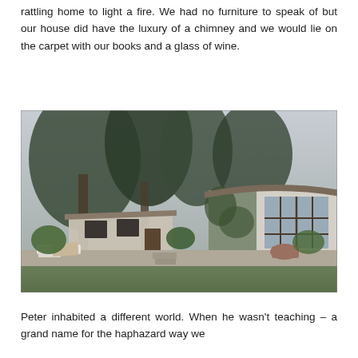rattling home to light a fire. We had no furniture to speak of but our house did have the luxury of a chimney and we would lie on the carpet with our books and a glass of wine.
[Figure (photo): Outdoor photograph of a house with trees and garden. White stucco building with ivy-covered walls, large windows with dark frames on the right side, lush trees in the background, garden furniture visible on the left, green lawn in the foreground, steps leading up to a patio area.]
Peter inhabited a different world. When he wasn't teaching – a grand name for the haphazard way we